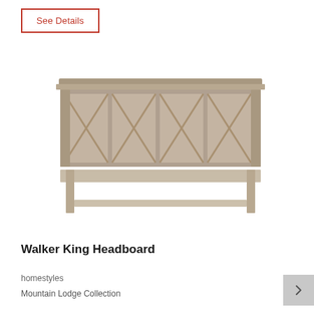See Details
[Figure (photo): Walker King Headboard - a wide wooden headboard in a grayish-brown finish with four X-pattern panels and a horizontal rail, shown on white background.]
Walker King Headboard
homestyles
Mountain Lodge Collection